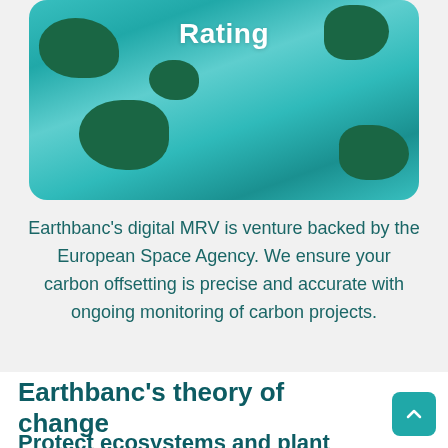[Figure (photo): Aerial satellite view of tropical islands with turquoise water, with 'Rating' text overlaid in white bold font on a rounded card]
Earthbanc's digital MRV is venture backed by the European Space Agency. We ensure your carbon offsetting is precise and accurate with ongoing monitoring of carbon projects.
Earthbanc's theory of change
Protect ecosystems and plant